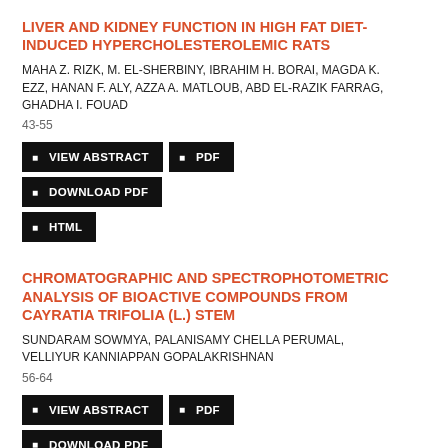LIVER AND KIDNEY FUNCTION IN HIGH FAT DIET-INDUCED HYPERCHOLESTEROLEMIC RATS
MAHA Z. RIZK, M. EL-SHERBINY, IBRAHIM H. BORAI, MAGDA K. EZZ, HANAN F. ALY, AZZA A. MATLOUB, ABD EL-RAZIK FARRAG, GHADHA I. FOUAD
43-55
VIEW ABSTRACT  PDF  DOWNLOAD PDF  HTML
CHROMATOGRAPHIC AND SPECTROPHOTOMETRIC ANALYSIS OF BIOACTIVE COMPOUNDS FROM CAYRATIA TRIFOLIA (L.) STEM
SUNDARAM SOWMYA, PALANISAMY CHELLA PERUMAL, VELLIYUR KANNIAPPAN GOPALAKRISHNAN
56-64
VIEW ABSTRACT  PDF  DOWNLOAD PDF